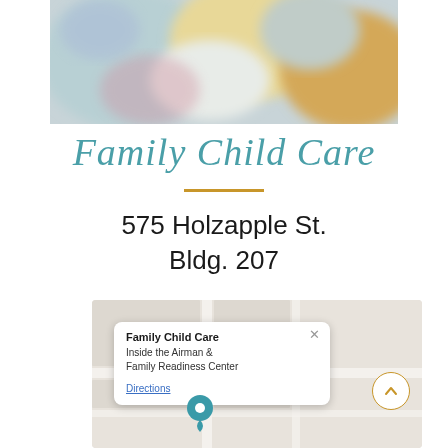[Figure (photo): Blurred banner photo of children in a child care setting]
Family Child Care
575 Holzapple St. Bldg. 207
[Figure (map): Google Maps screenshot showing location of Family Child Care inside the Airman & Family Readiness Center, with popup callout showing title, description, and Directions link, and a teal map pin marker]